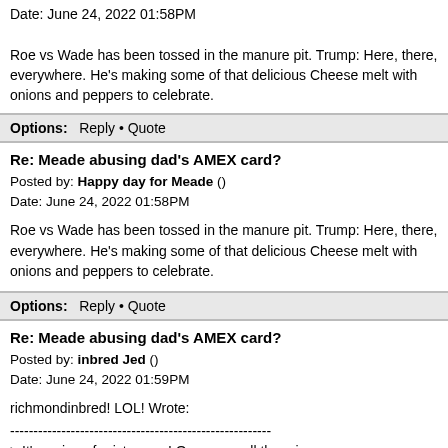Date: June 24, 2022 01:58PM

Roe vs Wade has been tossed in the manure pit. Trump: Here, there, everywhere. He's making some of that delicious Cheese melt with onions and peppers to celebrate.
Options: Reply • Quote
Re: Meade abusing dad's AMEX card?
Posted by: Happy day for Meade ()
Date: June 24, 2022 01:58PM
Roe vs Wade has been tossed in the manure pit. Trump: Here, there, everywhere. He's making some of that delicious Cheese melt with onions and peppers to celebrate.
Options: Reply • Quote
Re: Meade abusing dad's AMEX card?
Posted by: inbred Jed ()
Date: June 24, 2022 01:59PM
richmondinbred! LOL! Wrote:
--------------------------------------------------------
> It's a sign of aristocracy! Or as we call them in
> America, hillbillies.
Or, as we call them in Virginia, state and local government employees.